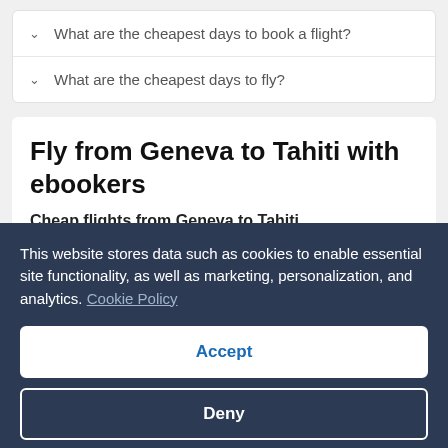What are the cheapest days to book a flight?
What are the cheapest days to fly?
Fly from Geneva to Tahiti with ebookers
Cheap flights from Geneva to Tahiti
Our advanced search tools and comprehensive filters help you find a flight that fits your budget. To search for cheap flights, just enter your travel dates and sort your results by price. With all
This website stores data such as cookies to enable essential site functionality, as well as marketing, personalization, and analytics. Cookie Policy
Accept
Deny